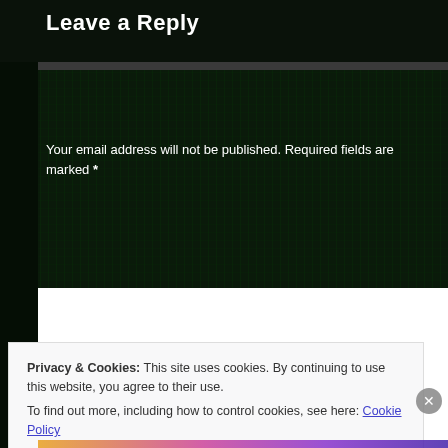Leave a Reply
Your email address will not be published. Required fields are marked *
Privacy & Cookies: This site uses cookies. By continuing to use this website, you agree to their use.
To find out more, including how to control cookies, see here: Cookie Policy
Close and accept